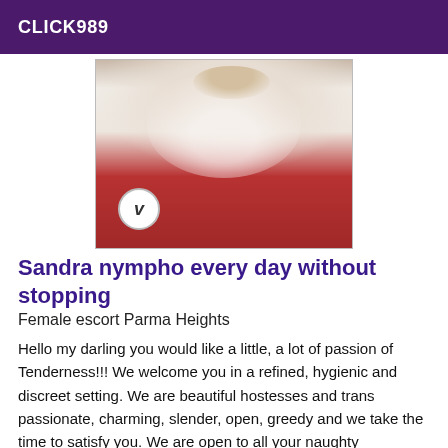CLICK989
[Figure (photo): Photo of a woman wearing a white strapless top and red outfit, cropped at upper body, with a circular V logo badge visible at bottom left]
Sandra nympho every day without stopping
Female escort Parma Heights
Hello my darling you would like a little, a lot of passion of Tenderness!!! We welcome you in a refined, hygienic and discreet setting. We are beautiful hostesses and trans passionate, charming, slender, open, greedy and we take the time to satisfy you. We are open to all your naughty proposals, fantasies and your desires of intimate games. Your pleasure will be ours. We look